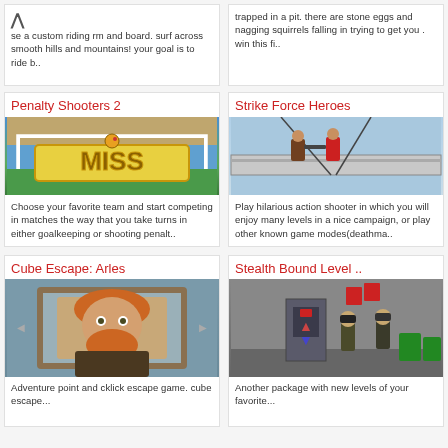se a custom riding rm and board. surf across smooth hills and mountains! your goal is to ride b..
trapped in a pit. there are stone eggs and nagging squirrels falling in trying to get you . win this fi..
Penalty Shooters 2
[Figure (screenshot): Screenshot of Penalty Shooters 2 game showing a goalkeeper and the word MISS in large yellow letters on a soccer field]
Choose your favorite team and start competing in matches the way that you take turns in either goalkeeping or shooting penalt..
Strike Force Heroes
[Figure (screenshot): Screenshot of Strike Force Heroes game showing soldiers on a futuristic aircraft or vehicle with a light blue sky background]
Play hilarious action shooter in which you will enjoy many levels in a nice campaign, or play other known game modes(deathma..
Cube Escape: Arles
Stealth Bound Level ..
[Figure (screenshot): Screenshot of Cube Escape: Arles game showing a pixel art portrait of Van Gogh on a bluish-gray wall]
[Figure (screenshot): Screenshot of Stealth Bound Level game showing soldiers and checkpoint machinery in a gray facility]
Adventure point and cklick escape game. cube escape...
Another package with new levels of your favorite...